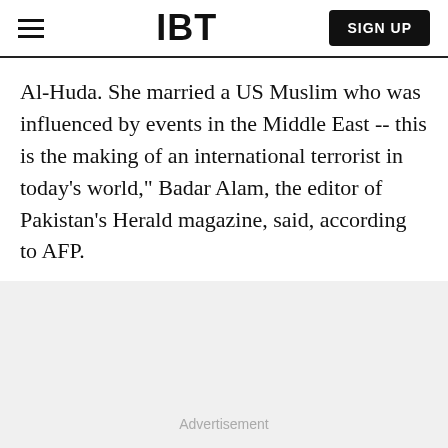IBT | SIGN UP
Al-Huda. She married a US Muslim who was influenced by events in the Middle East -- this is the making of an international terrorist in today's world," Badar Alam, the editor of Pakistan's Herald magazine, said, according to AFP.
Advertisement